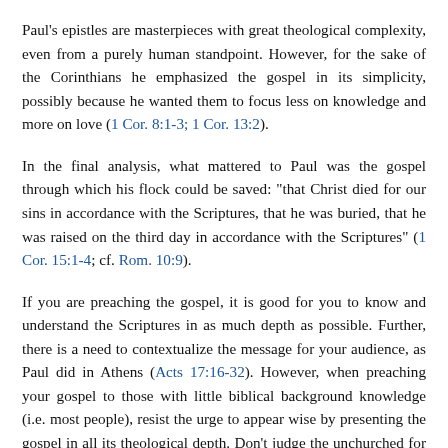Paul's epistles are masterpieces with great theological complexity, even from a purely human standpoint. However, for the sake of the Corinthians he emphasized the gospel in its simplicity, possibly because he wanted them to focus less on knowledge and more on love (1 Cor. 8:1-3; 1 Cor. 13:2).
In the final analysis, what mattered to Paul was the gospel through which his flock could be saved: "that Christ died for our sins in accordance with the Scriptures, that he was buried, that he was raised on the third day in accordance with the Scriptures" (1 Cor. 15:1-4; cf. Rom. 10:9).
If you are preaching the gospel, it is good for you to know and understand the Scriptures in as much depth as possible. Further, there is a need to contextualize the message for your audience, as Paul did in Athens (Acts 17:16-32). However, when preaching your gospel to those with little biblical background knowledge (i.e. most people), resist the urge to appear wise by presenting the gospel in all its theological depth. Don't judge the unchurched for having little interest in the history of the kingdoms of Israel and Judah, the precise mechanism of the atonement, or the details of the